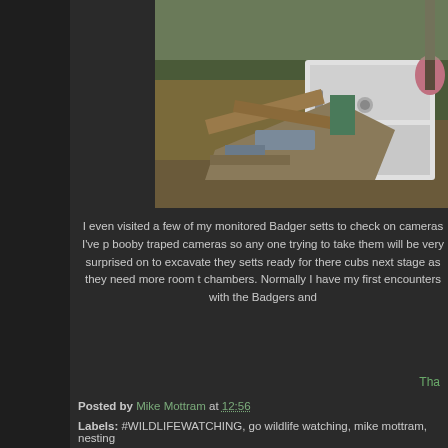[Figure (photo): Photo of discarded junk and appliances piled up outdoors, including what appears to be a refrigerator and various debris, set against a rural background with dry grass and a fence.]
I even visited a few of my monitored Badger setts to check on cameras I've p... booby traped cameras so any one trying to take them will be very surprised on... to excavate they setts ready for there cubs next stage as they need more room t... chambers. Normally I have my first encounters with the Badgers and...
Tha...
Posted by Mike Mottram at 12:56
Labels: #WILDLIFEWATCHING, go wildlife watching, mike mottram, nesting...